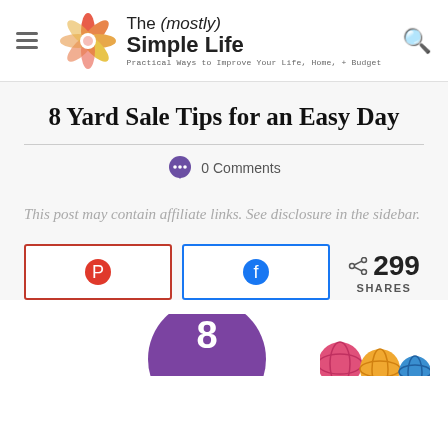The (mostly) Simple Life — Practical Ways to Improve Your Life, Home, + Budget
8 Yard Sale Tips for an Easy Day
0 Comments
This post may contain affiliate links. See disclosure in the sidebar.
[Figure (infographic): Pinterest and Facebook share buttons with 299 shares count]
[Figure (illustration): Purple circle with number 8 and colorful yarn balls visible at bottom of page]